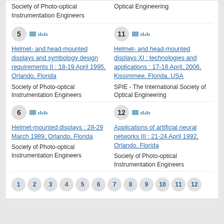Society of Photo-optical Instrumentation Engineers
Optical Engineering
5 — Helmet- and head-mounted displays and symbology design requirements II : 18-19 April 1995, Orlando, Florida — Society of Photo-optical Instrumentation Engineers
11 — Helmet- and head-mounted displays XI : technologies and applications : 17-18 April, 2006, Kissimmee, Florida, USA — SPIE - The International Society of Optical Engineering
6 — Helmet-mounted displays : 28-29 March 1989, Orlando, Florida — Society of Photo-optical Instrumentation Engineers
12 — Applications of artificial neural networks III : 21-24 April 1992, Orlando, Florida — Society of Photo-optical Instrumentation Engineers
Pagination: 1 2 3 4 5 6 7 8 9 10 11 12